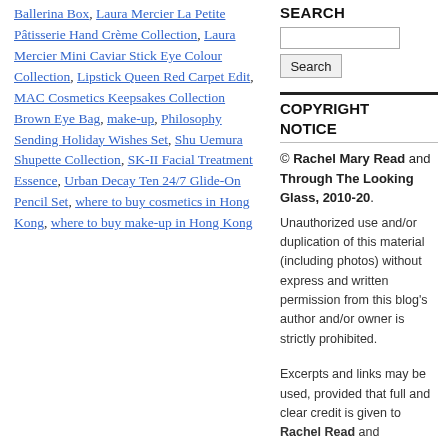Ballerina Box, Laura Mercier La Petite Pâtisserie Hand Crème Collection, Laura Mercier Mini Caviar Stick Eye Colour Collection, Lipstick Queen Red Carpet Edit, MAC Cosmetics Keepsakes Collection Brown Eye Bag, make-up, Philosophy Sending Holiday Wishes Set, Shu Uemura Shupette Collection, SK-II Facial Treatment Essence, Urban Decay Ten 24/7 Glide-On Pencil Set, where to buy cosmetics in Hong Kong, where to buy make-up in Hong Kong
SEARCH
COPYRIGHT NOTICE
© Rachel Mary Read and Through The Looking Glass, 2010-20.
Unauthorized use and/or duplication of this material (including photos) without express and written permission from this blog's author and/or owner is strictly prohibited.
Excerpts and links may be used, provided that full and clear credit is given to Rachel Read and